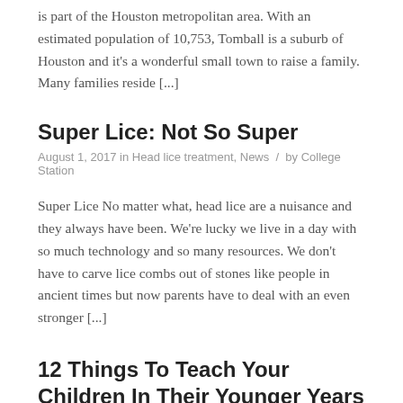is part of the Houston metropolitan area. With an estimated population of 10,753, Tomball is a suburb of Houston and it's a wonderful small town to raise a family. Many families reside [...]
Super Lice: Not So Super
August 1, 2017 in Head lice treatment, News / by College Station
Super Lice No matter what, head lice are a nuisance and they always have been. We're lucky we live in a day with so much technology and so many resources. We don't have to carve lice combs out of stones like people in ancient times but now parents have to deal with an even stronger [...]
12 Things To Teach Your Children In Their Younger Years